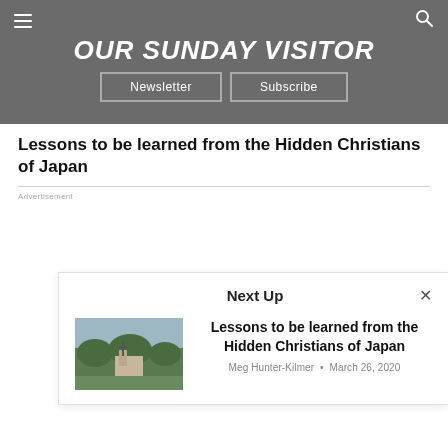OUR SUNDAY VISITOR
Lessons to be learned from the Hidden Christians of Japan
Advertisement
Next Up
[Figure (photo): Photo of a church or religious monument with a cross, surrounded by trees]
Lessons to be learned from the Hidden Christians of Japan
Meg Hunter-Kilmer • March 26, 2020